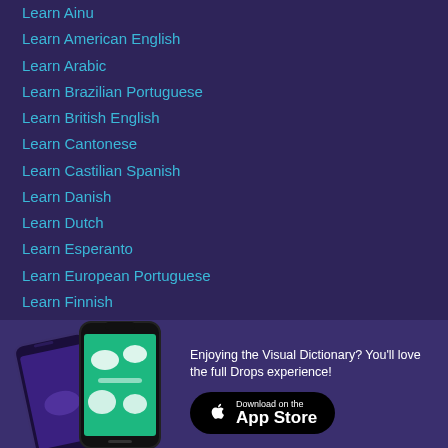Learn Ainu
Learn American English
Learn Arabic
Learn Brazilian Portuguese
Learn British English
Learn Cantonese
Learn Castilian Spanish
Learn Danish
Learn Dutch
Learn Esperanto
Learn European Portuguese
Learn Finnish
Learn French
[Figure (screenshot): Two smartphones showing the Drops app interface — one with a purple background, one with a green background showing vocabulary learning exercises]
Enjoying the Visual Dictionary? You'll love the full Drops experience!
[Figure (logo): Download on the App Store button]